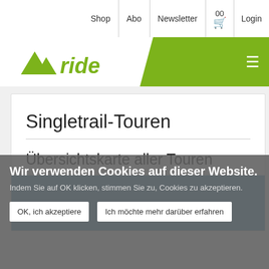Shop | Abo | Newsletter | 00 (cart) | Login
[Figure (logo): MTB Ride logo with mountain peaks graphic and stylized 'ride' text in olive green]
Singletrail-Touren
Übersichtskarte aller Touren
[Figure (map): Blue map area showing overview of all tours]
Wir verwenden Cookies auf dieser Website. Indem Sie auf OK klicken, stimmen Sie zu, Cookies zu akzeptieren.
OK, ich akzeptiere | Ich möchte mehr darüber erfahren